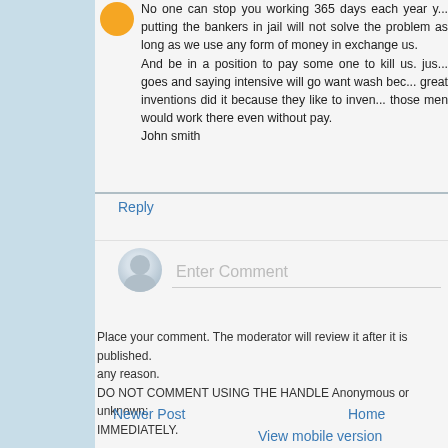No one can stop you working 365 days each year y... putting the bankers in jail will not solve the problem as long as we use any form of money in exchange us.
And be in a position to pay some one to kill us. jus... goes and saying intensive will go want wash bec... great inventions did it because they like to inven... those men would work there even without pay.
John smith
Reply
[Figure (illustration): User avatar circle for comment input]
Enter Comment
Place your comment. The moderator will review it after it is published. any reason.
DO NOT COMMENT USING THE HANDLE Anonymous or unknown; IMMEDIATELY.
Newer Post
Home
View mobile version